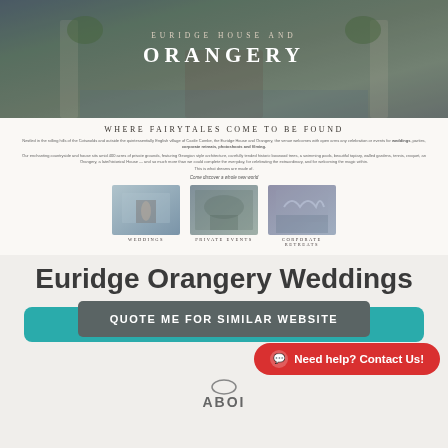[Figure (photo): Hero image of Euridge House and Orangery stone architecture with water feature, overlaid with text 'EURIDGE HOUSE AND ORANGERY']
WHERE FAIRYTALES COME TO BE FOUND
Nestled in the rolling hills of the Cotswolds and outside the quintessentially English village of Castle Combe, the Euridge House and Orangery, the venue welcomes with open arms any celebration or events for weddings, parties, corporate retreats, photoshoots and filming.
Our enchanting countryside and house sits amid 400 acres of private grounds, featuring Georgian style architecture, carefully tended historic boxwood trees, a swimming pools, beautiful topiary, walled gardens, tennis, croquet, an Orangery, a late/historical House — and so much more than we could list, completely the everyday, for celebrating the extraordinary, and for welcoming the magic within. This is what dreams are made of.
Come discover a whole new world
[Figure (photo): Three thumbnail photos side by side: Weddings (couple under pergola), Private Events (aerial estate view), Corporate Retreats (arched stone building reflection)]
Euridge Orangery Weddings
QUOTE ME FOR SIMILAR WEBSITE
Need help? Contact Us!
[Figure (logo): ABOI logo with circle icon above letters]